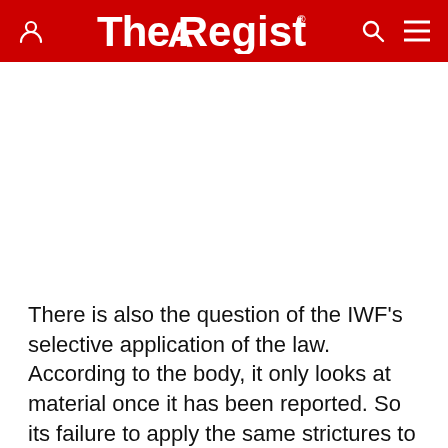The Register
There is also the question of the IWF's selective application of the law. According to the body, it only looks at material once it has been reported. So its failure to apply the same strictures to Amazon or HMV had nothing to do with the ability of those organisations